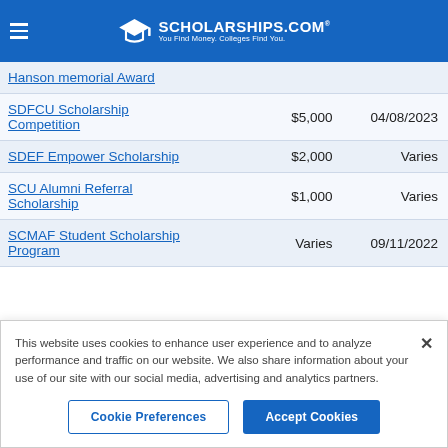SCHOLARSHIPS.COM — You Find Money. Colleges Find You.
| Scholarship Name | Amount | Deadline |
| --- | --- | --- |
| [partial row — truncated at top] |  |  |
| SDFCU Scholarship Competition | $5,000 | 04/08/2023 |
| SDEF Empower Scholarship | $2,000 | Varies |
| SCU Alumni Referral Scholarship | $1,000 | Varies |
| SCMAF Student Scholarship Program | Varies | 09/11/2022 |
This website uses cookies to enhance user experience and to analyze performance and traffic on our website. We also share information about your use of our site with our social media, advertising and analytics partners.
Cookie Preferences | Accept Cookies